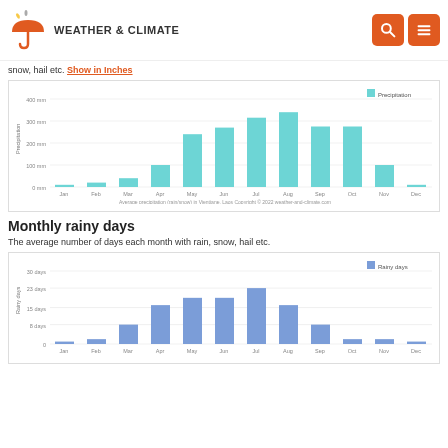WEATHER & CLIMATE
snow, hail etc. Show in Inches
[Figure (bar-chart): Average precipitation (rain/snow) in Vientiane, Laos]
Monthly rainy days
The average number of days each month with rain, snow, hail etc.
[Figure (bar-chart): Average rainy days in Vientiane, Laos]